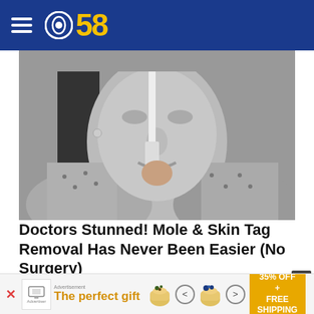CBS 58
[Figure (photo): Black and white photo of a woman applying something to her face with a toothbrush, face covered in a mask or paste]
Doctors Stunned! Mole & Skin Tag Removal Has Never Been Easier (No Surgery)
Mole & Skin Tag Removal
[Figure (photo): Close-up photo of a person's hand/elbow area on a lavender background]
[Figure (photo): Advertisement banner: The perfect gift - 35% OFF + FREE SHIPPING with product images of a bowl and navigation arrows]